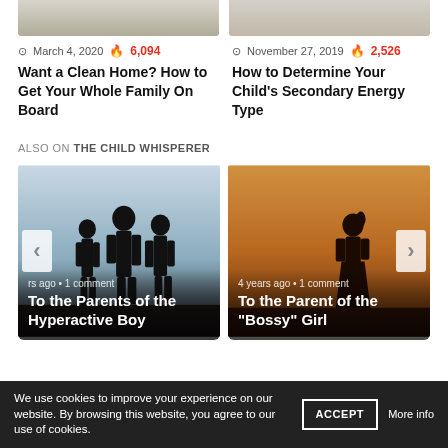[Figure (photo): Top partial images of two articles - left shows cleaning/family scene, right shows child/play scene]
March 4, 2020  6,094
Want a Clean Home? How to Get Your Whole Family On Board
November 27, 2019  2,526
How to Determine Your Child's Secondary Energy Type
ALSO ON THE CHILD WHISPERER
[Figure (photo): Left slider card: silhouettes of family against light sky background. Title: To the Parents of the Hyperactive Boy. Meta: years ago • 1 comment]
[Figure (photo): Right slider card: silhouette of girl against orange/sunset background. Title: To the Parent of the "Bossy" Girl. Meta: 4 years ago • 1 comment]
We use cookies to improve your experience on our website. By browsing this website, you agree to our use of cookies.